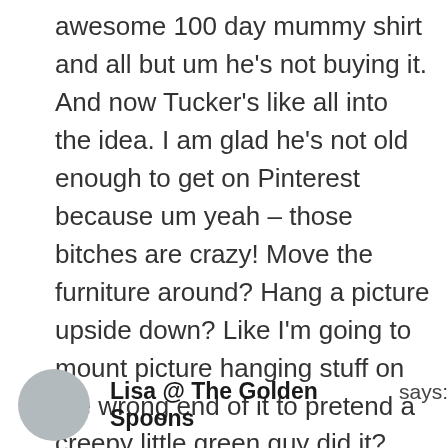awesome 100 day mummy shirt and all but um he's not buying it. And now Tucker's like all into the idea. I am glad he's not old enough to get on Pinterest because um yeah – those bitches are crazy! Move the furniture around? Hang a picture upside down? Like I'm going to mount picture hanging stuff on the wrong end of it to pretend a creepy little green guy did it? No. Thanks for linking up – love it!
Reply
Lisa @ The Golden Spoons says: